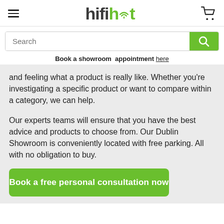hifihut
Search
Book a showroom  appointment here
and feeling what a product is really like. Whether you're investigating a specific product or want to compare within a category, we can help.
Our experts teams will ensure that you have the best advice and products to choose from. Our Dublin Showroom is conveniently located with free parking. All with no obligation to buy.
Book a free personal consultation now